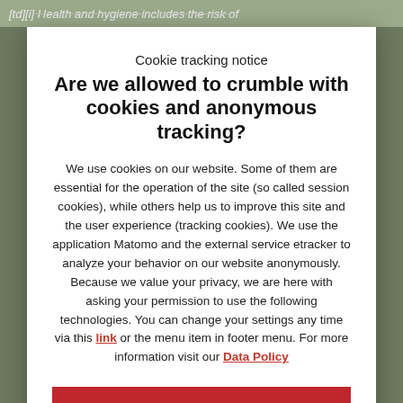[td][i] Health and hygiene includes the risk of
Cookie tracking notice
Are we allowed to crumble with cookies and anonymous tracking?
We use cookies on our website. Some of them are essential for the operation of the site (so called session cookies), while others help us to improve this site and the user experience (tracking cookies). We use the application Matomo and the external service etracker to analyze your behavior on our website anonymously. Because we value your privacy, we are here with asking your permission to use the following technologies. You can change your settings any time via this link or the menu item in footer menu. For more information visit our Data Policy
YES – I agree to tracking cookies.
No thanks – I agree to session cookies